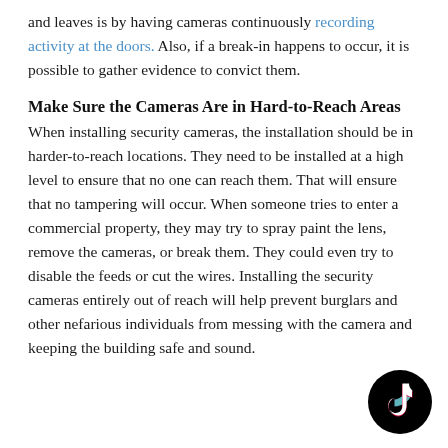and leaves is by having cameras continuously recording activity at the doors. Also, if a break-in happens to occur, it is possible to gather evidence to convict them.
Make Sure the Cameras Are in Hard-to-Reach Areas
When installing security cameras, the installation should be in harder-to-reach locations. They need to be installed at a high level to ensure that no one can reach them. That will ensure that no tampering will occur. When someone tries to enter a commercial property, they may try to spray paint the lens, remove the cameras, or break them. They could even try to disable the feeds or cut the wires. Installing the security cameras entirely out of reach will help prevent burglars and other nefarious individuals from messing with the camera and keeping the building safe and sound.
[Figure (logo): TikTok logo — black circle with white TikTok musical note icon and cyan/pink accent]